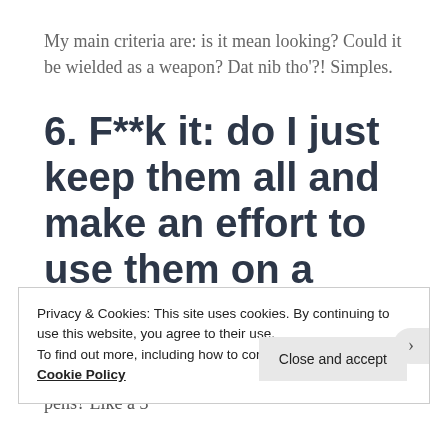My main criteria are: is it mean looking? Could it be wielded as a weapon? Dat nib tho'?! Simples.
6. F**k it: do I just keep them all and make an effort to use them on a rotation basis?
Or...do I stop over thinking it, continue to hoard and get even more strict on how I use my existing pens? Like a 3
Privacy & Cookies: This site uses cookies. By continuing to use this website, you agree to their use.
To find out more, including how to control cookies, see here: Cookie Policy